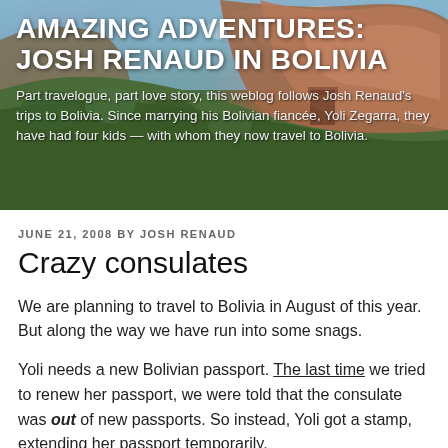[Figure (photo): Header photo of rocky Bolivian landscape with mountains and vegetation, with white text overlaid showing the blog title and subtitle.]
AMAZING ADVENTURES: JOSH RENAUD IN BOLIVIA
Part travelogue, part love story, this weblog follows Josh Renaud's trips to Bolivia. Since marrying his Bolivian fiancee, Yoli Zegarra, they have had four kids — with whom they now travel to Bolivia.
JUNE 21, 2008 BY JOSH RENAUD
Crazy consulates
We are planning to travel to Bolivia in August of this year. But along the way we have run into some snags.
Yoli needs a new Bolivian passport. The last time we tried to renew her passport, we were told that the consulate was out of new passports. So instead, Yoli got a stamp, extending her passport temporarily.